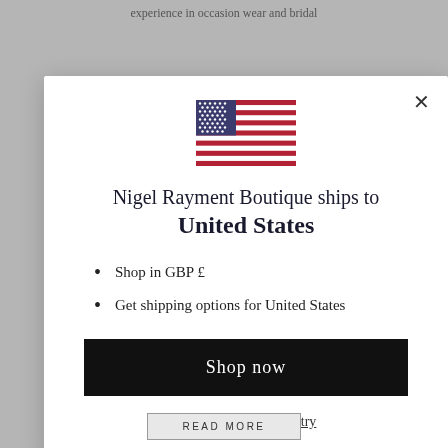experience in occasion wear and bridal
[Figure (screenshot): Modal dialog popup showing a US flag and shipping information for Nigel Rayment Boutique]
Nigel Rayment Boutique ships to United States
Shop in GBP £
Get shipping options for United States
Shop now
Change shipping country
READ MORE